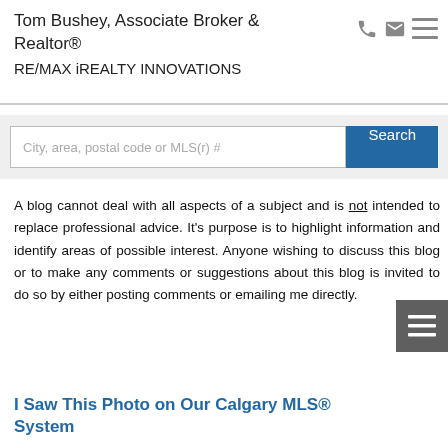Tom Bushey, Associate Broker & Realtor®
RE/MAX iREALTY INNOVATIONS
[Figure (infographic): Search bar with text input placeholder 'City, area, postal code or MLS(r) #' and blue Search button]
A blog cannot deal with all aspects of a subject and is not intended to replace professional advice. It's purpose is to highlight information and identify areas of possible interest. Anyone wishing to discuss this blog or to make any comments or suggestions about this blog is invited to do so by either posting comments or emailing me directly.
I Saw This Photo on Our Calgary MLS® System